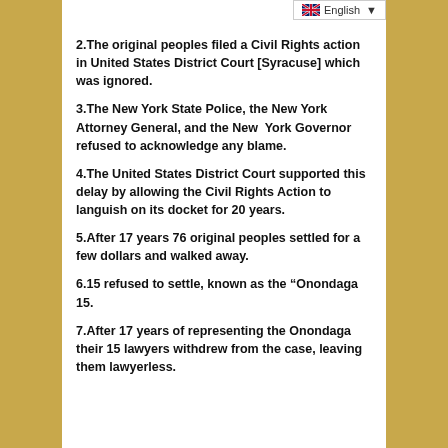English
2.The original peoples filed a Civil Rights action in United States District Court [Syracuse] which was ignored.
3.The New York State Police, the New York Attorney General, and the New  York Governor refused to acknowledge any blame.
4.The United States District Court supported this delay by allowing the Civil Rights Action to languish on its docket for 20 years.
5.After 17 years 76 original peoples settled for a few dollars and walked away.
6.15 refused to settle, known as the “Onondaga 15.
7.After 17 years of representing the Onondaga their 15 lawyers withdrew from the case, leaving them lawyerless.